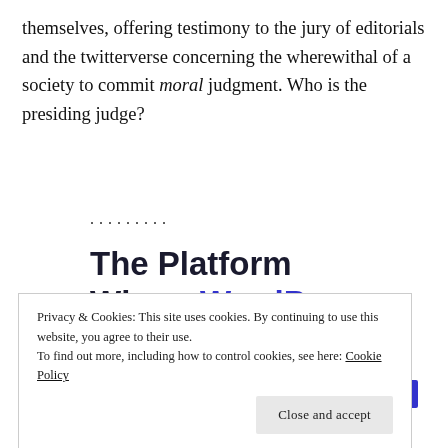themselves, offering testimony to the jury of editorials and the twitterverse concerning the wherewithal of a society to commit moral judgment. Who is the presiding judge?
.........
The Platform Where WordPress Works Best
Privacy & Cookies: This site uses cookies. By continuing to use this website, you agree to their use.
To find out more, including how to control cookies, see here: Cookie Policy
Close and accept